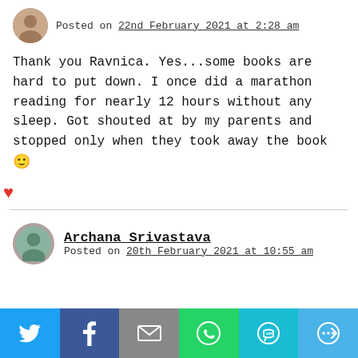Posted on 22nd February 2021 at 2:28 am
Thank you Ravnica. Yes...some books are hard to put down. I once did a marathon reading for nearly 12 hours without any sleep. Got shouted at by my parents and stopped only when they took away the book 🙂
❤
Archana Srivastava
Posted on 20th February 2021 at 10:55 am
[Figure (infographic): Social share bar with Twitter, Facebook, Email, WhatsApp, SMS, and More buttons]